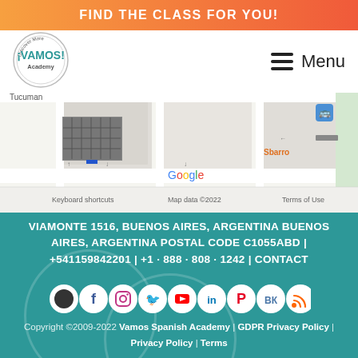FIND THE CLASS FOR YOU!
[Figure (logo): Vamos Academy circular logo with text 'Discover More ¡VAMOS! Academy']
Menu
[Figure (map): Google Maps screenshot showing Viamonte 1516 Buenos Aires, Argentina area with streets Tucuman and Lavalle visible, Google branding, Keyboard shortcuts, Map data ©2022, Terms of Use]
VIAMONTE 1516, BUENOS AIRES, ARGENTINA BUENOS AIRES, ARGENTINA POSTAL CODE C1055ABD | +541159842201 | +1 · 888 · 808 · 1242 | CONTACT
[Figure (infographic): Row of social media icons: dark circle, Facebook, Instagram, Twitter, YouTube, LinkedIn, Pinterest, VK, RSS — all white on teal background]
Copyright ©2009-2022 Vamos Spanish Academy | GDPR Privacy Policy | Privacy Policy | Terms